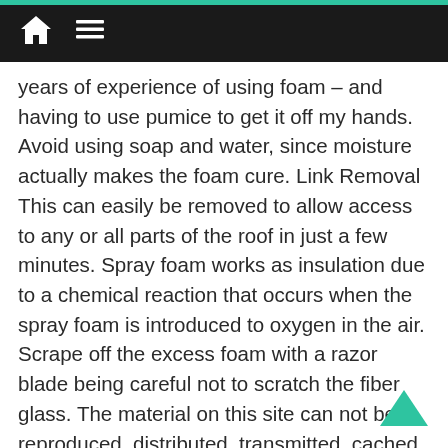years of experience of using foam – and having to use pumice to get it off my hands. Avoid using soap and water, since moisture actually makes the foam cure. Link Removal This can easily be removed to allow access to any or all parts of the roof in just a few minutes. Spray foam works as insulation due to a chemical reaction that occurs when the spray foam is introduced to oxygen in the air. Scrape off the excess foam with a razor blade being careful not to scratch the fiber glass. The material on this site can not be reproduced, distributed, transmitted, cached or otherwise used, except with prior written permission of Multiply. Apply it to the area with a bit of friction, and the residue should rub away easily. If the tile is rough, you can still use a rezor blade but it will be a lot more work. What are the safety precautions on using of magnifying glass? Spritz' the area with polish and "Gently" start rubbing This will produce decent results. Nail polish remover is a totally acceptable substitute, especially if it has acetone in it. Use ventalation